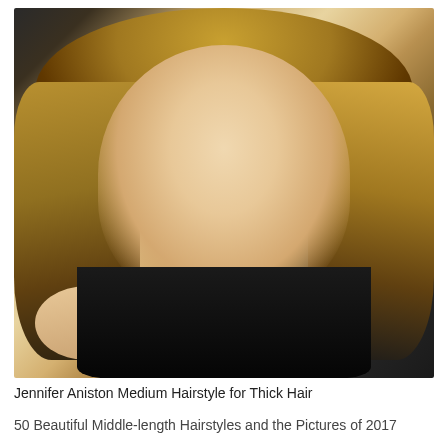[Figure (photo): Portrait photo of a woman with blonde medium-length layered hair, smoky eye makeup, wearing a dark/black outfit, photographed against a dark background.]
Jennifer Aniston Medium Hairstyle for Thick Hair
50 Beautiful Middle-length Hairstyles and the Pictures of 2017